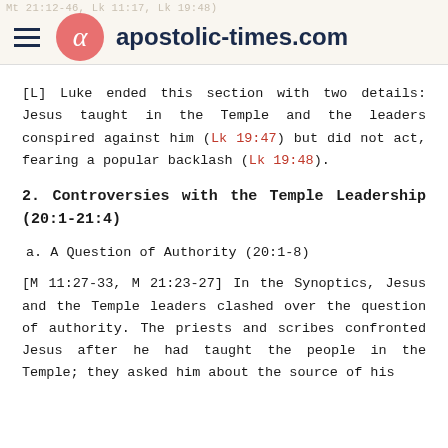apostolic-times.com
[L] Luke ended this section with two details: Jesus taught in the Temple and the leaders conspired against him (Lk 19:47) but did not act, fearing a popular backlash (Lk 19:48).
2. Controversies with the Temple Leadership (20:1-21:4)
a. A Question of Authority (20:1-8)
[M 11:27-33, M 21:23-27] In the Synoptics, Jesus and the Temple leaders clashed over the question of authority. The priests and scribes confronted Jesus after he had taught the people in the Temple; they asked him about the source of his